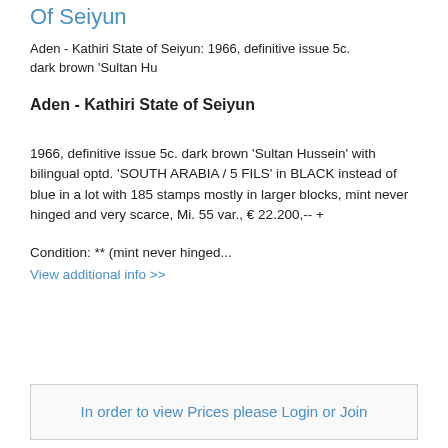Of Seiyun
Aden - Kathiri State of Seiyun: 1966, definitive issue 5c. dark brown 'Sultan Hu
Aden - Kathiri State of Seiyun
1966, definitive issue 5c. dark brown 'Sultan Hussein' with bilingual optd. 'SOUTH ARABIA / 5 FILS' in BLACK instead of blue in a lot with 185 stamps mostly in larger blocks, mint never hinged and very scarce, Mi. 55 var., € 22.200,-- +
Condition: ** (mint never hinged...
View additional info >>
In order to view Prices please Login or Join